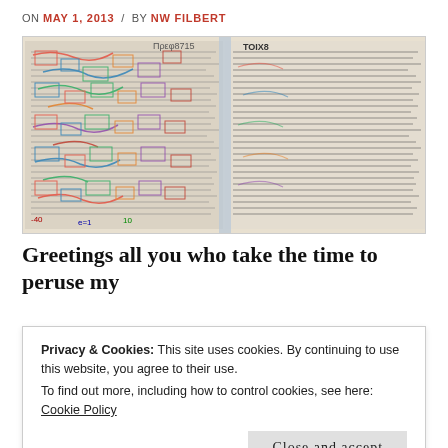ON MAY 1, 2013 / BY NW FILBERT
[Figure (photo): An open book with dense handwritten annotations in multiple colors overlaid on printed text, resembling a heavily annotated manuscript or study Bible.]
Greetings all you who take the time to peruse my
Privacy & Cookies: This site uses cookies. By continuing to use this website, you agree to their use.
To find out more, including how to control cookies, see here: Cookie Policy
Close and accept
Greetings all you who take the time to peruse my